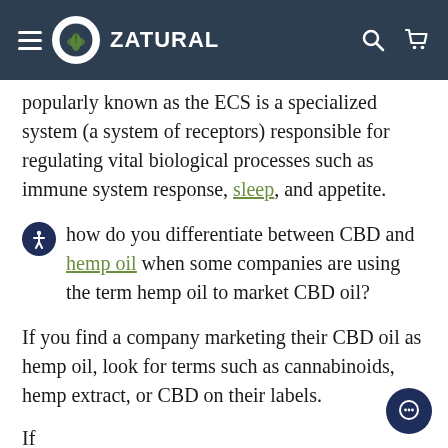ZATURAL
popularly known as the ECS is a specialized system (a system of receptors) responsible for regulating vital biological processes such as immune system response, sleep, and appetite.
how do you differentiate between CBD and hemp oil when some companies are using the term hemp oil to market CBD oil?
If you find a company marketing their CBD oil as hemp oil, look for terms such as cannabinoids, hemp extract, or CBD on their labels.
If...